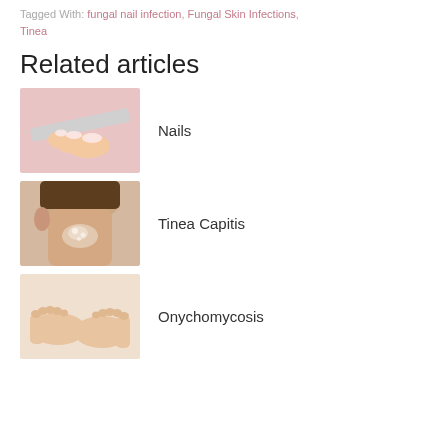Tagged With: fungal nail infection, Fungal Skin Infections, Tinea
Related articles
[Figure (photo): Close-up photo of hands filing nails with a nail file on a pink background]
Nails
[Figure (photo): Photo of the back of a child's head/neck showing a skin condition (tinea capitis)]
Tinea Capitis
[Figure (photo): Photo of bare feet/ankles showing skin condition (onychomycosis)]
Onychomycosis